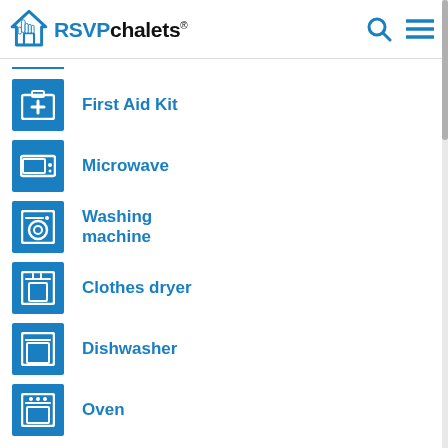RSVPchalets®
First Aid Kit
Microwave
Washing machine
Clothes dryer
Dishwasher
Oven